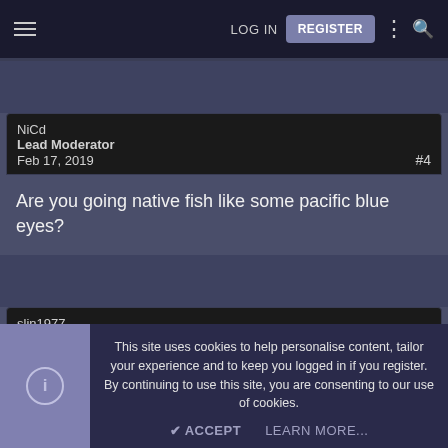LOG IN  REGISTER
NiCd
Lead Moderator
Feb 17, 2019
#4
Are you going native fish like some pacific blue eyes?
slin1977
This site uses cookies to help personalise content, tailor your experience and to keep you logged in if you register.
By continuing to use this site, you are consenting to our use of cookies.
ACCEPT  LEARN MORE...